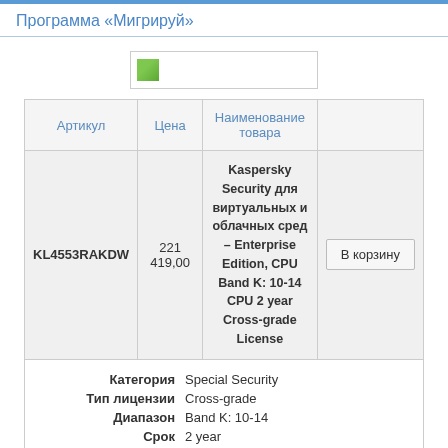Программа «Мигрируй»
[Figure (logo): Kaspersky logo placeholder image box]
| Артикул | Цена | Наименование товара |  |
| --- | --- | --- | --- |
| KL4553RAKDW | 221 419,00 | Kaspersky Security для виртуальных и облачных сред – Enterprise Edition, CPU Band K: 10-14 CPU 2 year Cross-grade License | В корзину |
| Категория | Special Security |
| Тип лицензии | Cross-grade |
| Диапазон | Band K: 10-14 |
| Срок | 2 year |
| Пакет | License |